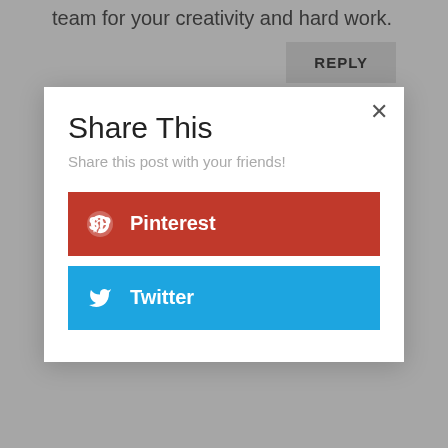team for your creativity and hard work.
REPLY
kathleen dumpert on September 5, 2021 at 9:24 am
I am excited to see all the new stamps and dies as well as the inspiration from your amazing design team!
Share This
Share this post with your friends!
Pinterest
Twitter